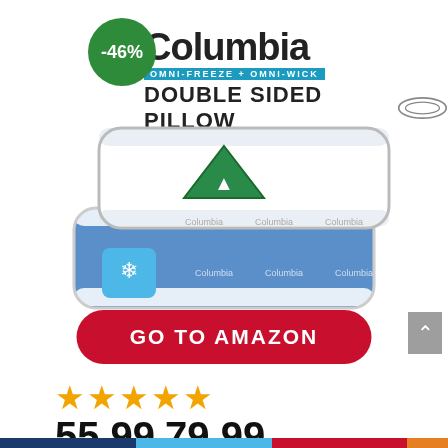[Figure (logo): Columbia brand logo with -46% discount badge overlay, OMNI-WICK bar, and DOUBLE SIDED PILLOW text with pillow icon]
[Figure (photo): Two Columbia branded pillows - one white with green triangle logo on top, one blue with snowflake/cooling logo beneath]
GO TO AMAZON
[Figure (infographic): 4.5 star rating shown as 5 gold star icons (approximately 4-5 filled stars)]
55.99  79.99 $44/70